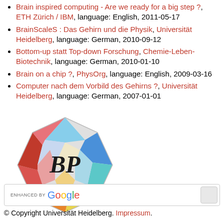Brain inspired computing - Are we ready for a big step ?, ETH Zürich / IBM, language: English, 2011-05-17
BrainScaleS : Das Gehirn und die Physik, Universität Heidelberg, language: German, 2010-09-12
Bottom-up statt Top-down Forschung, Chemie-Leben-Biotechnik, language: German, 2010-01-10
Brain on a chip ?, PhysOrg, language: English, 2009-03-16
Computer nach dem Vorbild des Gehirns ?, Universität Heidelberg, language: German, 2007-01-01
[Figure (logo): Heidelberg Press colorful geometric diamond/crystal logo with BP letters]
ENHANCED BY Google (search box)
© Copyright Universität Heidelberg. Impressum.